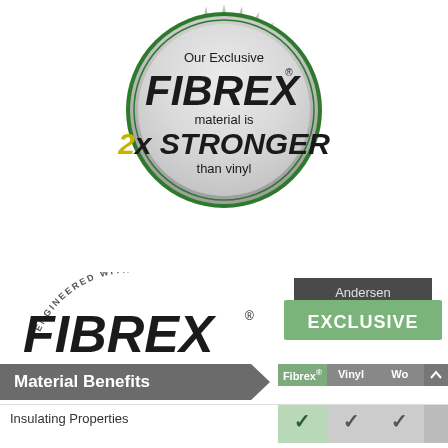[Figure (logo): Circular silver/green badge seal reading: 'Our Exclusive FIBREX material is 2x STRONGER than vinyl']
[Figure (logo): Engineered with FIBREX wordmark logo with registered trademark symbol and curved 'ENGINEERED WITH' text above]
[Figure (logo): Andersen EXCLUSIVE badge with dark header and green body]
| Material Benefits | Fibrex® | Vinyl | Wo… |
| --- | --- | --- | --- |
| Insulating Properties | ✓ | ✓ | ✓ |